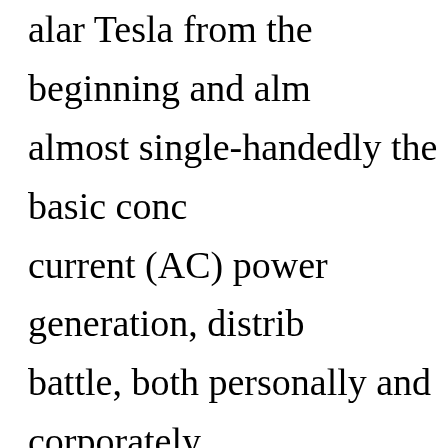almost single-handedly the basic conc current (AC) power generation, distrib battle, both personally and corporately and his proposed direct current (DC) s Documentaries like this one tend to flo exaggerations that build sympathy for du jour, so keep that in mind when vie documentary on Edison likely conflict